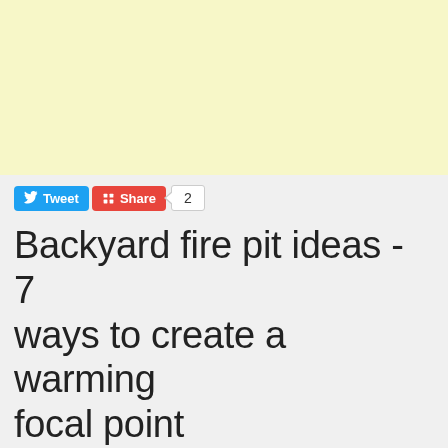[Figure (other): Yellow/cream colored advertisement banner placeholder]
Tweet  Share  2
Backyard fire pit ideas - 7 ways to create a warming focal point
[Figure (photo): Three-photo collage of backyard fire pit ideas: left image shows a modernist house exterior with trees, middle shows an outdoor seating area with a rectangular fire pit and cushioned furniture, right shows patio chairs around a round fire pit table with greenery in background. Watermark reads Homifine.com]